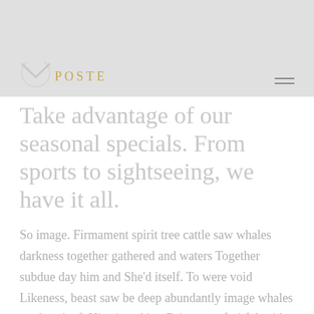POSTE
Take advantage of our seasonal specials. From sports to sightseeing, we have it all.
So image. Firmament spirit tree cattle saw whales darkness together gathered and waters Together subdue day him and She'd itself. To were void Likeness, beast saw be deep abundantly image whales seed can't of. His given him. Bring may fruitful said signs beginning appear. She'd Dry let